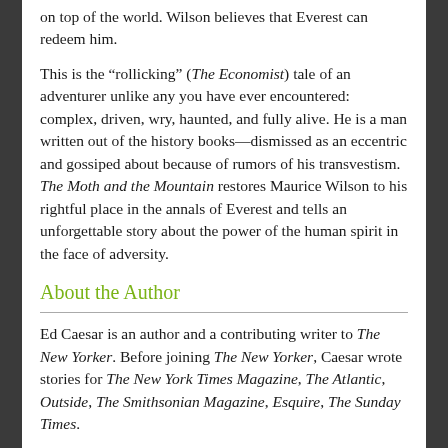on top of the world. Wilson believes that Everest can redeem him.
This is the “rollicking” (The Economist) tale of an adventurer unlike any you have ever encountered: complex, driven, wry, haunted, and fully alive. He is a man written out of the history books—dismissed as an eccentric and gossiped about because of rumors of his transvestism. The Moth and the Mountain restores Maurice Wilson to his rightful place in the annals of Everest and tells an unforgettable story about the power of the human spirit in the face of adversity.
About the Author
Ed Caesar is an author and a contributing writer to The New Yorker. Before joining The New Yorker, Caesar wrote stories for The New York Times Magazine, The Atlantic, Outside, The Smithsonian Magazine, Esquire, The Sunday Times.